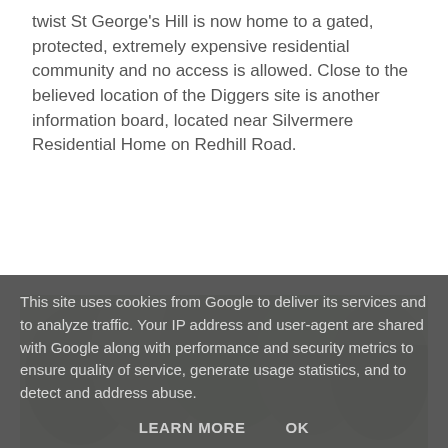twist St George's Hill is now home to a gated, protected, extremely expensive residential community and no access is allowed. Close to the believed location of the Diggers site is another information board, located near Silvermere Residential Home on Redhill Road.
[Figure (photo): Photo of the Surrey Diggers Trail information board sign mounted outdoors, with trees visible in the background. The sign is dark/black with white text reading 'Surrey Diggers Trail'. A secondary panel is visible to the right.]
This site uses cookies from Google to deliver its services and to analyze traffic. Your IP address and user-agent are shared with Google along with performance and security metrics to ensure quality of service, generate usage statistics, and to detect and address abuse.
LEARN MORE    OK